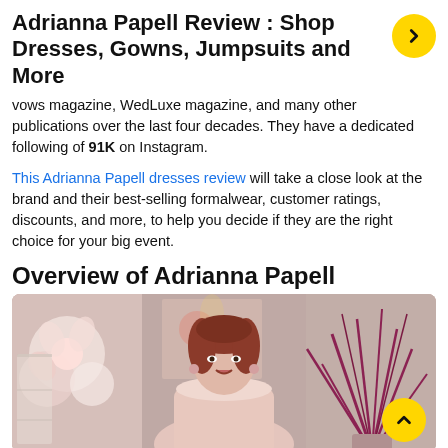Adrianna Papell Review : Shop Dresses, Gowns, Jumpsuits and More
Vows magazine, WedLuxe magazine, and many other publications over the last four decades. They have a dedicated following of 91K on Instagram.
This Adrianna Papell dresses review will take a close look at the brand and their best-selling formalwear, customer ratings, discounts, and more, to help you decide if they are the right choice for your big event.
Overview of Adrianna Papell
[Figure (photo): A woman with red hair wearing a light pink dress, smiling, with floral and plant decorations in the background.]